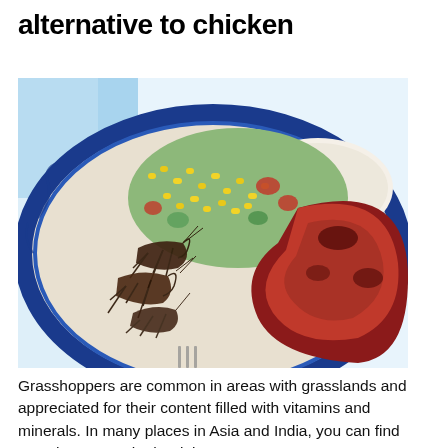alternative to chicken
[Figure (photo): A plate with cooked grasshoppers (chapulines) alongside a corn salad and red spiced meat, served on a blue-patterned plate]
Grasshoppers are common in areas with grasslands and appreciated for their content filled with vitamins and minerals. In many places in Asia and India, you can find grasshoppers, whether it is a restaurant or a street